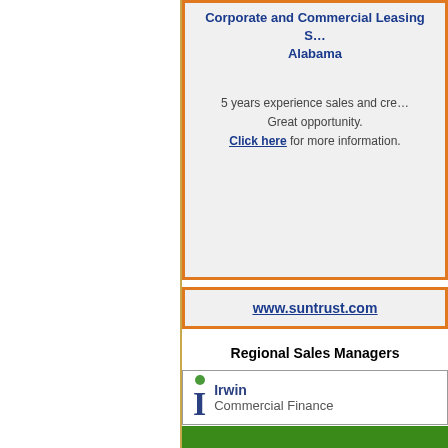Corporate and Commercial Leasing S... Alabama
5 years experience sales and cre... Great opportunity. Click here for more information.
www.suntrust.com
Regional Sales Managers
[Figure (logo): Irwin Commercial Finance logo with stylized I and dot]
Regional Sales Managers
To establish small ticket vendor programs... metro areas. Excellent compensation/ ben... package. View job description. Send resu... Zully.Fernandez@IrwinCF.com
Company Description: Irwin Commercial Finance (NYSE: IFC) is a true direc... in the ever changing leasing environment, we bring sta... creativity and consistent customer service levels to ou...